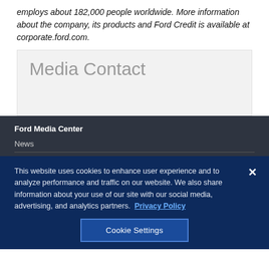employs about 182,000 people worldwide. More information about the company, its products and Ford Credit is available at corporate.ford.com.
Media Contact
Ford Media Center
News
This website uses cookies to enhance user experience and to analyze performance and traffic on our website. We also share information about your use of our site with our social media, advertising, and analytics partners. Privacy Policy
Cookie Settings